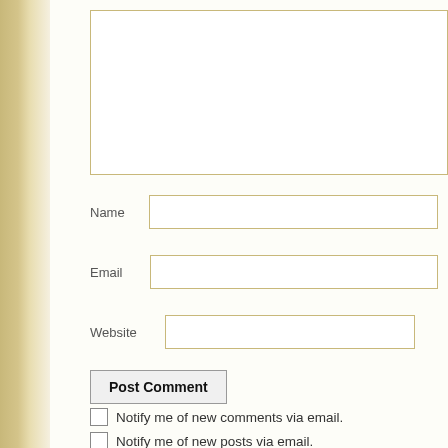[Figure (screenshot): Web comment form with textarea, Name field, Email field, Website field, Post Comment button, and two checkboxes for email notifications]
Name
Email
Website
Post Comment
Notify me of new comments via email.
Notify me of new posts via email.